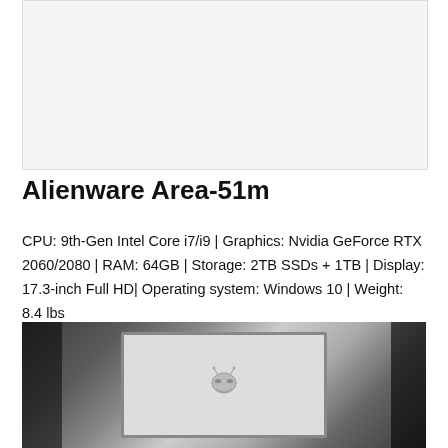[Figure (photo): Placeholder/advertisement image area at top of page, light gray background]
Alienware Area-51m
CPU: 9th-Gen Intel Core i7/i9 | Graphics: Nvidia GeForce RTX 2060/2080 | RAM: 64GB | Storage: 2TB SSDs + 1TB | Display: 17.3-inch Full HD| Operating system: Windows 10 | Weight: 8.4 lbs
[Figure (photo): Photo of the Alienware Area-51m laptop showing the screen with the Alienware alien head logo displayed on the screen]